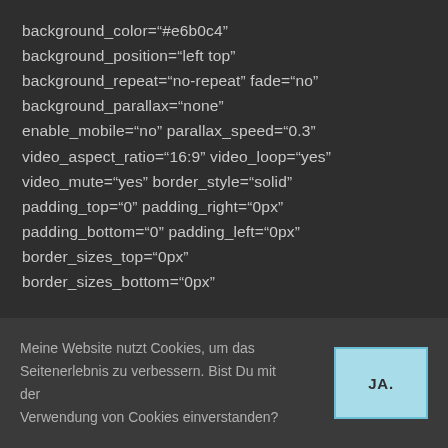background_color="#e6b0c4" background_position="left top" background_repeat="no-repeat" fade="no" background_parallax="none" enable_mobile="no" parallax_speed="0.3" video_aspect_ratio="16:9" video_loop="yes" video_mute="yes" border_style="solid" padding_top="0" padding_right="0px" padding_bottom="0" padding_left="0px" border_sizes_top="0px" border_sizes_bottom="0px"
Meine Website nutzt Cookies, um das Seitenerlebnis zu verbessern. Bist Du mit der Verwendung von Cookies einverstanden?
JA.